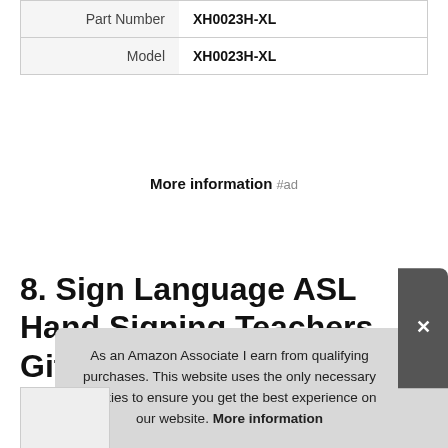|  |  |
| --- | --- |
| Part Number | XH0023H-XL |
| Model | XH0023H-XL |
More information #ad
8. Sign Language ASL Hand Signing Teachers Gift
#ad
As an Amazon Associate I earn from qualifying purchases. This website uses the only necessary cookies to ensure you get the best experience on our website. More information